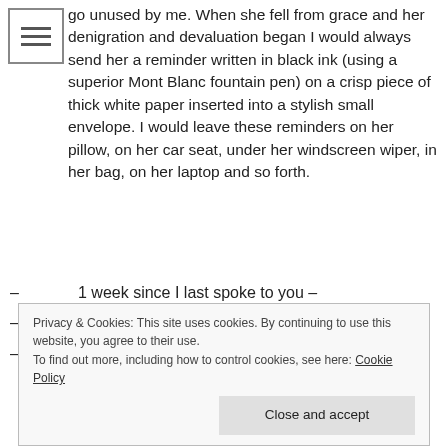go unused by me. When she fell from grace and her denigration and devaluation began I would always send her a reminder written in black ink (using a superior Mont Blanc fountain pen) on a crisp piece of thick white paper inserted into a stylish small envelope. I would leave these reminders on her pillow, on her car seat, under her windscreen wiper, in her bag, on her laptop and so forth.
– 1 week since I last spoke to you –
– 2 months since our first argument –
– 5 days since I rang you –
Privacy & Cookies: This site uses cookies. By continuing to use this website, you agree to their use.
To find out more, including how to control cookies, see here: Cookie Policy
Close and accept